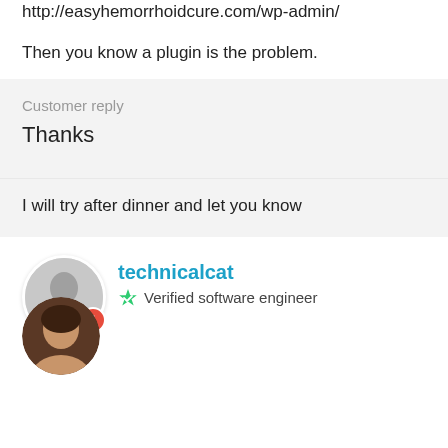http://easyhemorrhoidcure.com/wp-admin/
Then you know a plugin is the problem.
Customer reply
Thanks
I will try after dinner and let you know
technicalcat
Verified software engineer